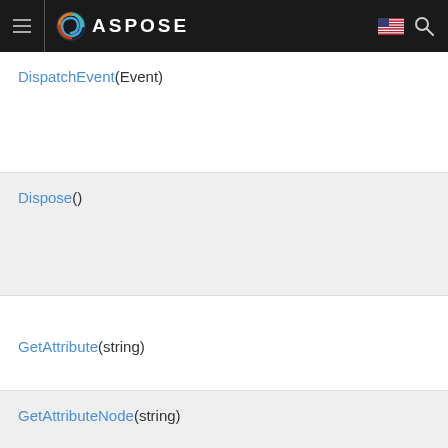ASPOSE
DispatchEvent(Event)
Dispose()
GetAttribute(string)
GetAttributeNode(string)